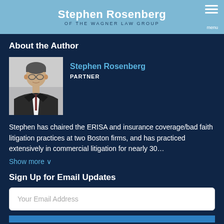Stephen Rosenberg / OF THE WAGNER LAW GROUP
About the Author
[Figure (photo): Professional headshot of Stephen Rosenberg, a man in a dark suit with tie, light background]
Stephen Rosenberg
PARTNER
Stephen has chaired the ERISA and insurance coverage/bad faith litigation practices at two Boston firms, and has practiced extensively in commercial litigation for nearly 30...
Show more ∨
Sign Up for Email Updates
Your Email Address